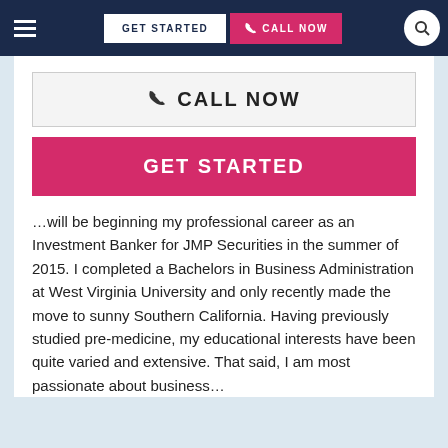≡   GET STARTED   CALL NOW   🔍
[Figure (screenshot): CALL NOW button with phone icon, outlined style]
[Figure (screenshot): GET STARTED button, filled pink/red style]
…will be beginning my professional career as an Investment Banker for JMP Securities in the summer of 2015. I completed a Bachelors in Business Administration at West Virginia University and only recently made the move to sunny Southern California. Having previously studied pre-medicine, my educational interests have been quite varied and extensive. That said, I am most passionate about business…